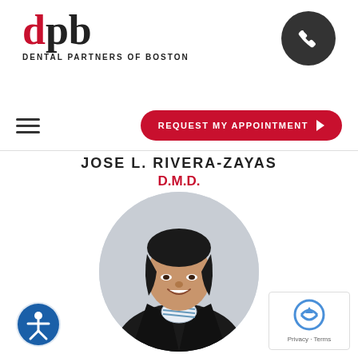[Figure (logo): Dental Partners of Boston logo with red 'd' and black 'pb' letters, tagline below]
[Figure (illustration): Dark circle with white phone handset icon]
[Figure (illustration): Hamburger menu icon (three horizontal lines)]
REQUEST MY APPOINTMENT
JOSE L. RIVERA-ZAYAS
D.M.D.
[Figure (photo): Portrait photo of a smiling woman with dark hair wearing a black blazer with a striped bow, in a circular crop]
[Figure (illustration): Accessibility icon - blue circle with white figure person]
[Figure (illustration): reCAPTCHA badge with Privacy and Terms text]